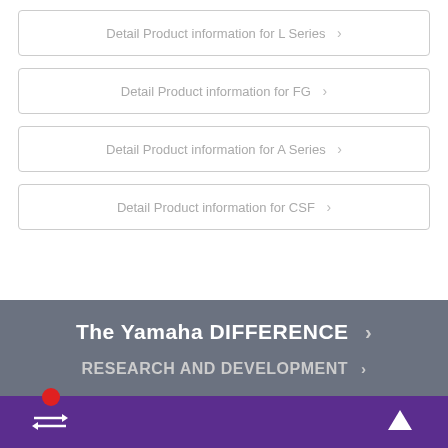Detail Product information for L Series >
Detail Product information for FG >
Detail Product information for A Series >
Detail Product information for CSF >
The Yamaha DIFFERENCE >
RESEARCH AND DEVELOPMENT >